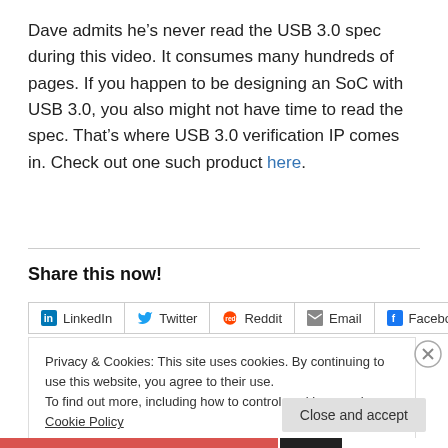Dave admits he’s never read the USB 3.0 spec during this video. It consumes many hundreds of pages. If you happen to be designing an SoC with USB 3.0, you also might not have time to read the spec. That’s where USB 3.0 verification IP comes in. Check out one such product here.
Share this now!
LinkedIn  Twitter  Reddit  Email  Facebook
Privacy & Cookies: This site uses cookies. By continuing to use this website, you agree to their use.
To find out more, including how to control cookies, see here: Cookie Policy
Close and accept